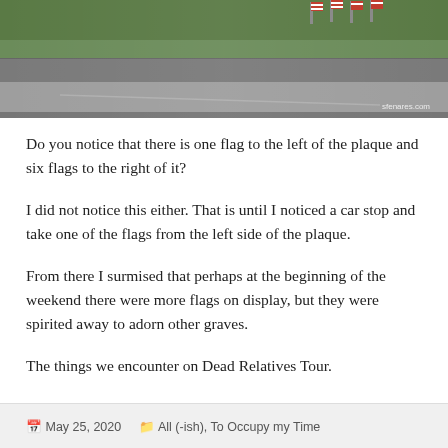[Figure (photo): Outdoor photo showing a road/path with a stone wall or curb, green grass/shrubs, and small American flags visible in the background at the top.]
Do you notice that there is one flag to the left of the plaque and six flags to the right of it?
I did not notice this either. That is until I noticed a car stop and take one of the flags from the left side of the plaque.
From there I surmised that perhaps at the beginning of the weekend there were more flags on display, but they were spirited away to adorn other graves.
The things we encounter on Dead Relatives Tour.
May 25, 2020   All (-ish), To Occupy my Time